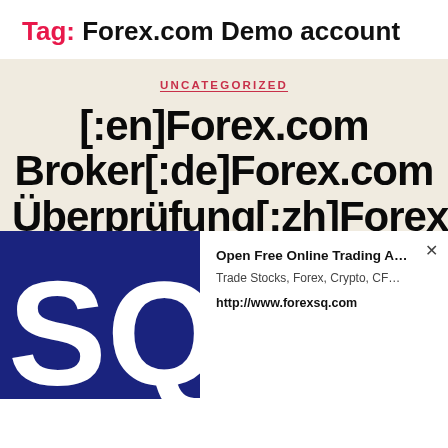Tag: Forex.com Demo account
UNCATEGORIZED
[:en]Forex.com Broker[:de]Forex.com Überprüfung[:zh]Forex.com[:es]Revisión
[Figure (logo): Dark blue SQ logo letters on dark blue background]
Open Free Online Trading A… Trade Stocks, Forex, Crypto, CF… http://www.forexsq.com